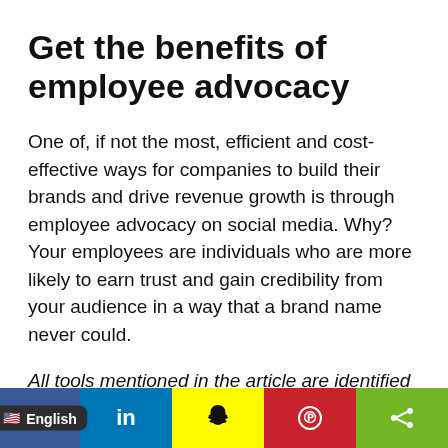Get the benefits of employee advocacy
One of, if not the most, efficient and cost-effective ways for companies to build their brands and drive revenue growth is through employee advocacy on social media. Why? Your employees are individuals who are more likely to earn trust and gain credibility from your audience in a way that a brand name never could.
All tools mentioned in the article are identified by the author. If you have a tool to share, please add it in the comments.
Want more content marketing tips, insights, and
[Figure (infographic): Social media sharing bar with Facebook (blue), English language selector (dark), LinkedIn (blue), Snapchat (yellow), Pinterest (red), Share (green) buttons]